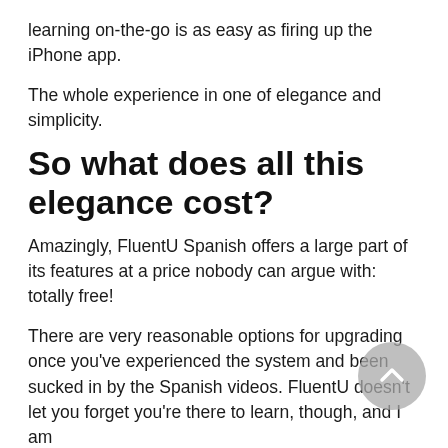learning on-the-go is as easy as firing up the iPhone app.
The whole experience in one of elegance and simplicity.
So what does all this elegance cost?
Amazingly, FluentU Spanish offers a large part of its features at a price nobody can argue with: totally free!
There are very reasonable options for upgrading once you've experienced the system and been sucked in by the Spanish videos. FluentU doesn't let you forget you're there to learn, though, and I am